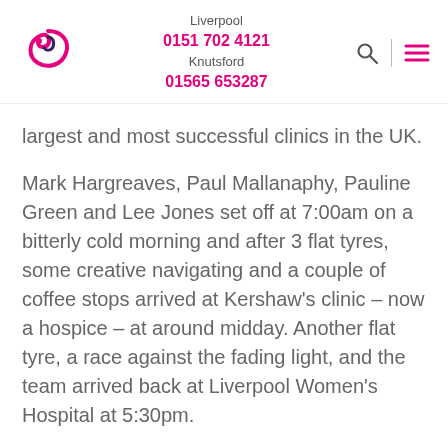Liverpool 0151 702 4121 Knutsford 01565 653287
largest and most successful clinics in the UK.
Mark Hargreaves, Paul Mallanaphy, Pauline Green and Lee Jones set off at 7:00am on a bitterly cold morning and after 3 flat tyres, some creative navigating and a couple of coffee stops arrived at Kershaw's clinic – now a hospice – at around midday. Another flat tyre, a race against the fading light, and the team arrived back at Liverpool Women's Hospital at 5:30pm.